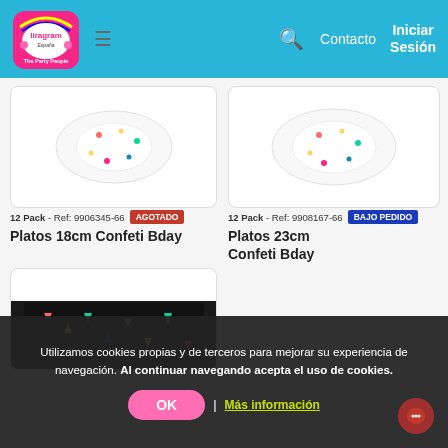Liragram España - The Party People | Contacto | Iniciar Sesión
12 Pack - Ref: 9906345-66 AGOTADO
Platos 18cm Confeti Bday
12 Pack - Ref: 9908167-66 BAJO PEDIDO
Platos 23cm Confeti Bday
[Figure (photo): Product image placeholder for Platos 18cm Confeti Bday]
[Figure (photo): Product image placeholder for Platos 23cm Confeti Bday]
[Figure (photo): Product image for third item - dark tablecloth with confetti pattern]
Utilizamos cookies propias y de terceros para mejorar su experiencia de navegación. Al continuar navegando acepta el uso de cookies.
OK
Más información